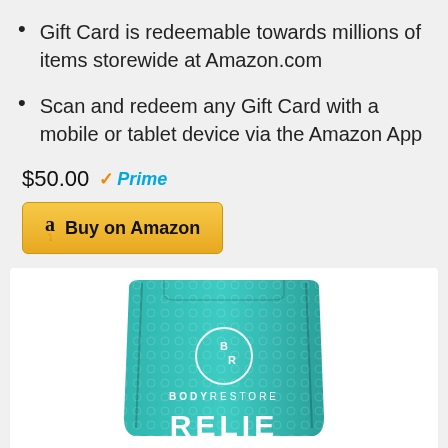Gift Card is redeemable towards millions of items storewide at Amazon.com
Scan and redeem any Gift Card with a mobile or tablet device via the Amazon App
$50.00 ✓Prime
[Figure (screenshot): Yellow 'Buy on Amazon' button with Amazon logo 'a' icon]
[Figure (photo): Teal BODYRESTORE RELIEF product bag/pouch with BR logo circle and 'RELIEF' text at bottom]